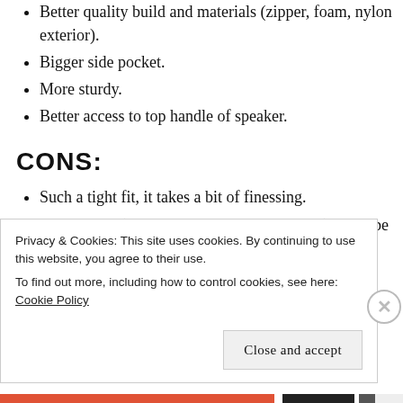Better quality build and materials (zipper, foam, nylon exterior).
Bigger side pocket.
More sturdy.
Better access to top handle of speaker.
CONS:
Such a tight fit, it takes a bit of finessing.
Side pocket (although bigger than the Gator) could be even bigger
More expensive.
Privacy & Cookies: This site uses cookies. By continuing to use this website, you agree to their use.
To find out more, including how to control cookies, see here: Cookie Policy